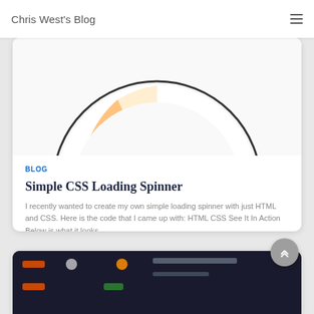Chris West's Blog
[Figure (illustration): Partial top view of a CSS loading spinner — a circular ring with a red-orange-yellow gradient arc segment visible at lower left, on white background, with a dark border ring.]
BLOG
Simple CSS Loading Spinner
I recently wanted to create my own simple loading spinner with just HTML and CSS. Here is the code that I came up with: HTML CSS See It In Action Below is what it looks
Read more...
[Figure (screenshot): Partial screenshot of a dark-themed web page or code editor, showing a dark background with colored labels/tabs in orange and green.]